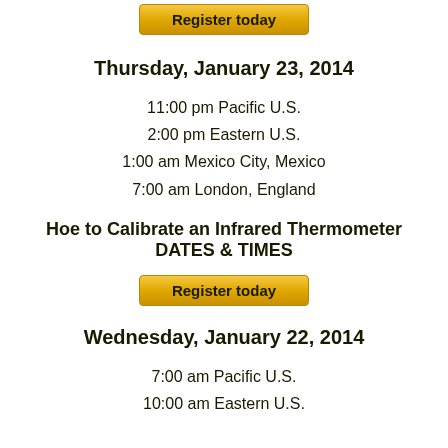[Figure (other): Register today button at top]
Thursday, January 23, 2014
11:00 pm Pacific U.S.
2:00 pm Eastern U.S.
1:00 am Mexico City, Mexico
7:00 am London, England
Hoe to Calibrate an Infrared Thermometer DATES & TIMES
[Figure (other): Register today button]
Wednesday, January 22, 2014
7:00 am Pacific U.S.
10:00 am Eastern U.S.